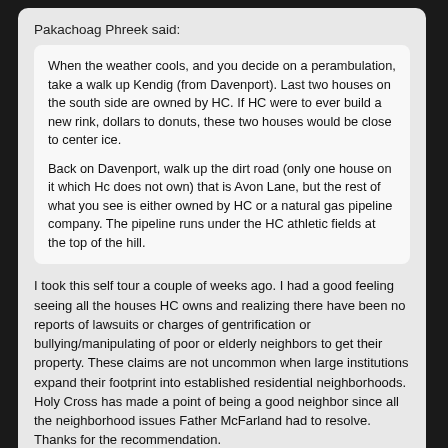Pakachoag Phreek said:
When the weather cools, and you decide on a perambulation, take a walk up Kendig (from Davenport). Last two houses on the south side are owned by HC.  If HC were to ever build a new rink, dollars to donuts, these two houses would be close to center ice.

Back on Davenport, walk up the dirt road (only one house on it which Hc does not own) that is Avon Lane, but the rest of what you see is either owned by HC or a natural gas pipeline company.  The pipeline runs under the HC athletic fields at the top of the hill.
I took this self tour a couple of weeks ago. I had a good feeling seeing all the houses HC owns and realizing there have been no reports of lawsuits or charges of gentrification or bullying/manipulating of poor or elderly neighbors to get their property. These claims are not uncommon when large institutions expand their footprint into established residential neighborhoods. Holy Cross has made a point of being a good neighbor since all the neighborhood issues Father McFarland had to resolve. Thanks for the recommendation.